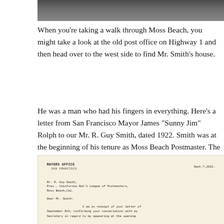[Figure (photo): Top portion of a photograph, dark/grayscale image cropped at top]
When you're taking a walk through Moss Beach, you might take a look at the old post office on Highway 1 and then head over to the west side to find Mr. Smith's house.
He was a man who had his fingers in everything. Here's a letter from San Francisco Mayor James "Sunny Jim" Rolph to our Mr. R. Guy Smith, dated 1922. Smith was at the beginning of his tenure as Moss Beach Postmaster. The Mayor is accepting an invitation to a Postmaster's convention. Click to enlarge.
[Figure (photo): Scanned letter from Mayor's Office, San Francisco, dated Sept. 7, 1922, addressed to Mr. R. Guy Smith, Pres., California Nat'l League of Postmasters, Moss Beach, Cal. Dear Mr. Smith: I am in receipt of your letter of September 8th, confirming your conversation with my Secretary in regard to my appearing at the opening]